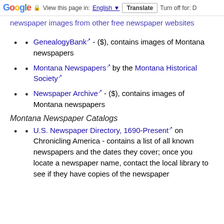Google | View this page in: English | Translate | Turn off for: D
newspaper images from other free newspaper websites
GenealogyBank - ($), contains images of Montana newspapers
Montana Newspapers by the Montana Historical Society
Newspaper Archive - ($), contains images of Montana newspapers
Montana Newspaper Catalogs
U.S. Newspaper Directory, 1690-Present on Chronicling America - contains a list of all known newspapers and the dates they cover; once you locate a newspaper name, contact the local library to see if they have copies of the newspaper